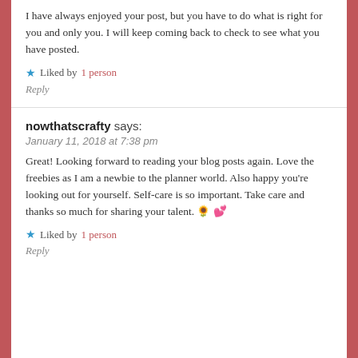I have always enjoyed your post, but you have to do what is right for you and only you. I will keep coming back to check to see what you have posted.
Liked by 1 person
Reply
nowthatscrafty says:
January 11, 2018 at 7:38 pm
Great! Looking forward to reading your blog posts again. Love the freebies as I am a newbie to the planner world. Also happy you're looking out for yourself. Self-care is so important. Take care and thanks so much for sharing your talent. 🌻 💕
Liked by 1 person
Reply